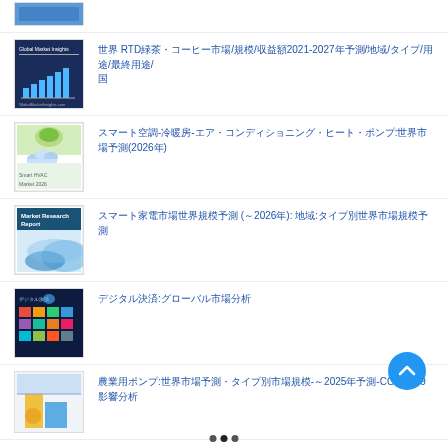(thumbnail image)
世界 RTD緑茶・コーヒー市場/規模/収益額2021-2027年予測/地域/タイプ/用途/最終用途/国
スマート空調-冷暖房-エア・コンディショニング・ヒート・ポンプ:世界市場予測(2026年)
スマート家電市場世界規模予測 (～2026年): 地域:タイプ別世界市場規模予測
デジタル決済:グローバル市場分析
農業用ポンプ:世界市場予測・タイプ別市場規模-～2025年予測-COVID-19影響分析